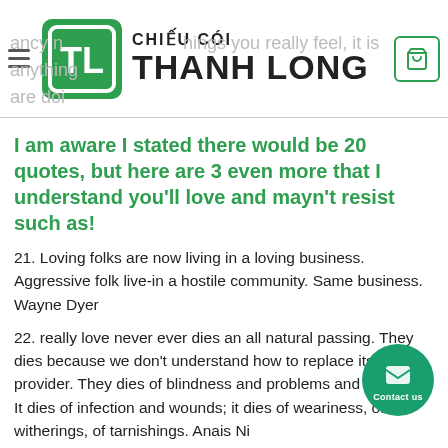CHIẾU CÓI THANH LONG
I am aware I stated there would be 20 quotes, but here are 3 even more that I understand you'll love and mayn't resist such as!
21. Loving folks are now living in a loving business. Aggressive folk live-in a hostile community. Same business. Wayne Dyer
22. really love never ever dies an all natural passing. They dies because we don't understand how to replace its provider. They dies of blindness and problems and betrayals. It dies of infection and wounds; it dies of weariness, of witherings, of tarnishings. Anais Ni...
23 meetme live stream. We define prefer therefore: The will